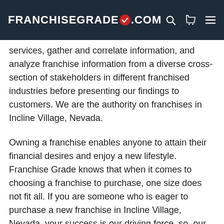FRANCHISEGRADE✓.COM
services, gather and correlate information, and analyze franchise information from a diverse cross-section of stakeholders in different franchised industries before presenting our findings to customers. We are the authority on franchises in Incline Village, Nevada.
Owning a franchise enables anyone to attain their financial desires and enjoy a new lifestyle. Franchise Grade knows that when it comes to choosing a franchise to purchase, one size does not fit all. If you are someone who is eager to purchase a new franchise in Incline Village, Nevada, your success is our driving force, so, our competitive nature means we crush any goals we set for you. We give you with data and research to help you make an informed and life-altering step. We have helped thousands of soon to be